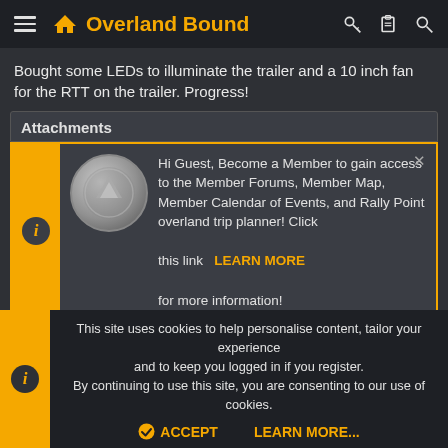Overland Bound
Bought some LEDs to illuminate the trailer and a 10 inch fan for the RTT on the trailer. Progress!
Attachments
Hi Guest, Become a Member to gain access to the Member Forums, Member Map, Member Calendar of Events, and Rally Point overland trip planner! Click this link LEARN MORE for more information!
This site uses cookies to help personalise content, tailor your experience and to keep you logged in if you register. By continuing to use this site, you are consenting to our use of cookies.
ACCEPT   LEARN MORE...